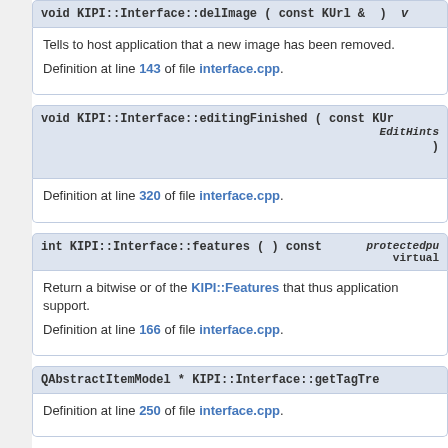void KIPI::Interface::delImage ( const KUrl & ) virtual
Tells to host application that a new image has been removed.
Definition at line 143 of file interface.cpp.
void KIPI::Interface::editingFinished ( const KUrl, EditHints )
Definition at line 320 of file interface.cpp.
int KIPI::Interface::features ( ) const   protectedpure virtual
Return a bitwise or of the KIPI::Features that thus application support.
Definition at line 166 of file interface.cpp.
QAbstractItemModel * KIPI::Interface::getTagTree
Definition at line 250 of file interface.cpp.